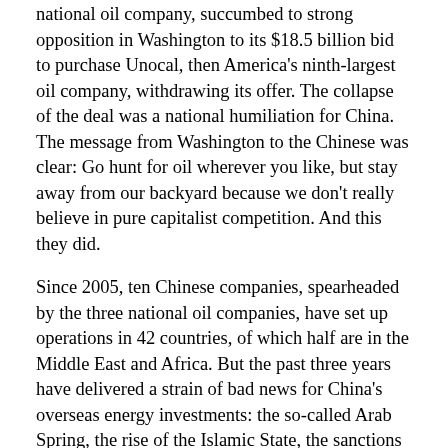national oil company, succumbed to strong opposition in Washington to its $18.5 billion bid to purchase Unocal, then America's ninth-largest oil company, withdrawing its offer. The collapse of the deal was a national humiliation for China. The message from Washington to the Chinese was clear: Go hunt for oil wherever you like, but stay away from our backyard because we don't really believe in pure capitalist competition. And this they did.
Since 2005, ten Chinese companies, spearheaded by the three national oil companies, have set up operations in 42 countries, of which half are in the Middle East and Africa. But the past three years have delivered a strain of bad news for China's overseas energy investments: the so-called Arab Spring, the rise of the Islamic State, the sanctions imposed on Iran and Russia, the escalating conflict between Sudan and the newly independent South Sudan, and the Ebola crisis too. All of these have put some of China's top foreign investments at risk. The worst blow may be coming from Iraq, where 26 percent of China's foreign oil assets are concentrated. As late as June 2014, an International Energy Agency report